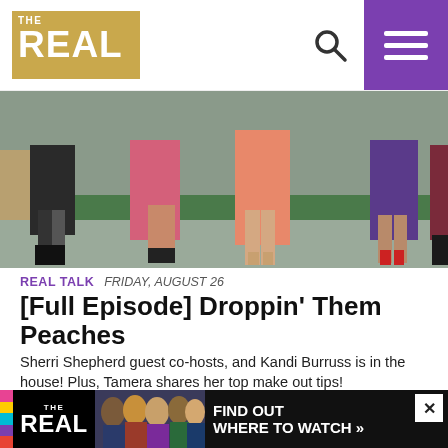THE REAL
[Figure (photo): Cropped lower-body shot of five women standing on a TV show stage with a green rug, wearing colorful dresses and high heels]
REAL TALK  FRIDAY, AUGUST 26
[Full Episode] Droppin' Them Peaches
Sherri Shepherd guest co-hosts, and Kandi Burruss is in the house! Plus, Tamera shares her top make out tips!
[Figure (photo): Blonde woman smiling on a TV show set with purple background]
[Figure (infographic): Ad banner for The Real TV show: striped bar, logo, hosts photo, FIND OUT WHERE TO WATCH text, and close button]